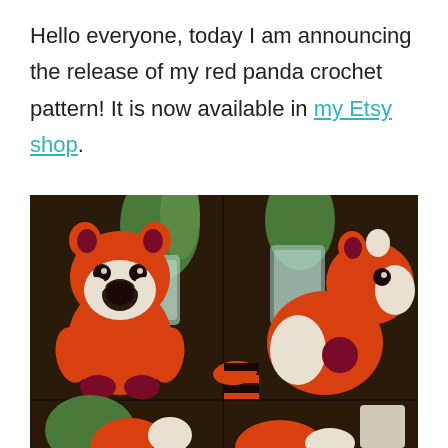Hello everyone, today I am announcing the release of my red panda crochet pattern! It is now available in my Etsy shop.
[Figure (photo): Two photos of a crocheted red panda amigurumi toy shown from the front and side, with two more partial photos below. The toy is orange and white with dark maroon ears and striped tail.]